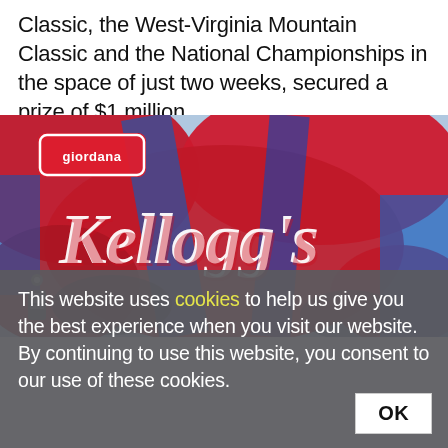Classic, the West-Virginia Mountain Classic and the National Championships in the space of just two weeks, secured a prize of $1 million.
[Figure (photo): Close-up photo of a red, white, and blue cycling jersey showing the Giordana brand logo and the Kellogg's logo in red and white script on a flowing fabric background.]
This website uses cookies to help us give you the best experience when you visit our website. By continuing to use this website, you consent to our use of these cookies.